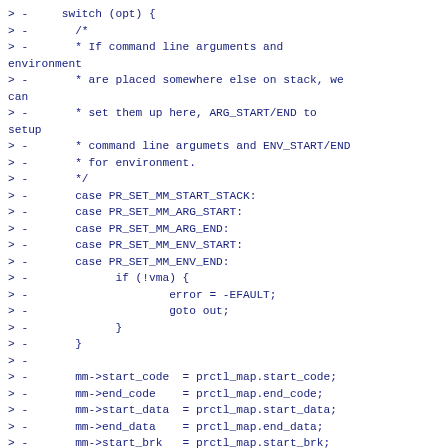Code diff showing removal of switch cases and memory map assignments in C source